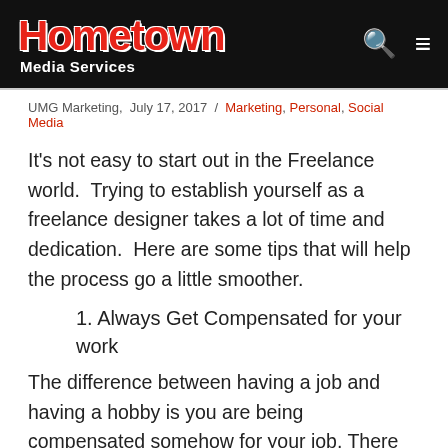Hometown Media Services
UMG Marketing, July 17, 2017 / Marketing, Personal, Social Media
It's not easy to start out in the Freelance world. Trying to establish yourself as a freelance designer takes a lot of time and dedication. Here are some tips that will help the process go a little smoother.
1. Always Get Compensated for your work
The difference between having a job and having a hobby is you are being compensated somehow for your job. There will often times be instances when you will have to work for considerably less then you need to but try to never do anything for free. Besides, how will you create a career for yourself if you don't set a price for your work. Nobody